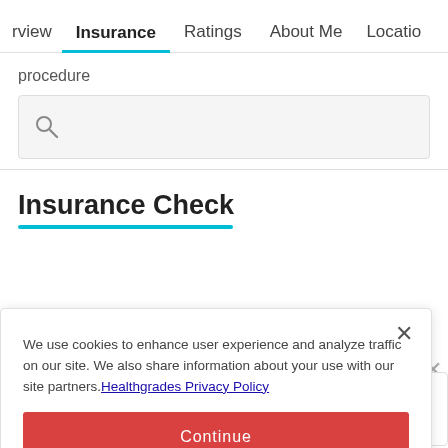rview  Insurance  Ratings  About Me  Locatio
procedure
[Figure (screenshot): Search input box with magnifying glass icon on grey background]
Insurance Check
We use cookies to enhance user experience and analyze traffic on our site. We also share information about your use with our site partners. Healthgrades Privacy Policy
Continue
Access my Privacy Preferences